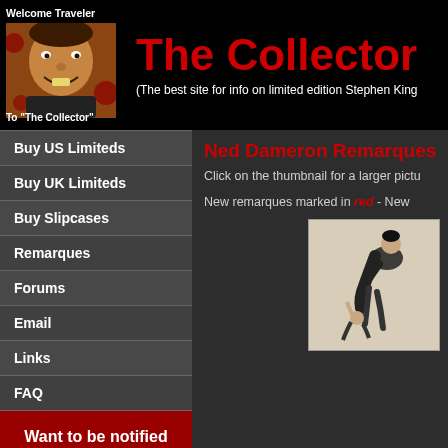Welcome Traveler / To "The Collector"
The Collector
(The best site for info on limited edition Stephen King
Buy US Limiteds
Buy UK Limiteds
Buy Slipcases
Remarques
Forums
Email
Links
FAQ
Want to be notified about the latest news and updates?
Ned Dameron Remarques
Click on the thumbnail for a larger pictu
New remarques marked in red - New
[Figure (illustration): Black and white illustration of a man in a coat bending over another figure, sketch style artwork]